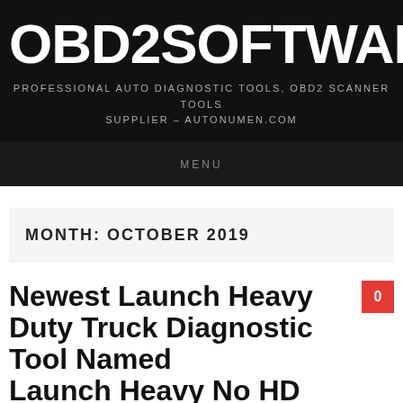OBD2SOFTWARE.INFO
PROFESSIONAL AUTO DIAGNOSTIC TOOLS, OBD2 SCANNER TOOLS SUPPLIER – AUTONUMEN.COM
MENU
MONTH: OCTOBER 2019
Newest Launch Heavy Duty Truck Diagnostic Tool Named Launch Heavy No HD